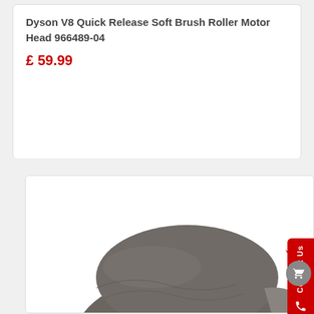Dyson V8 Quick Release Soft Brush Roller Motor Head 966489-04
£ 59.99
[Figure (photo): Product image of a dark grey Dyson vacuum cleaner brush roller motor head attachment, viewed from above/side angle.]